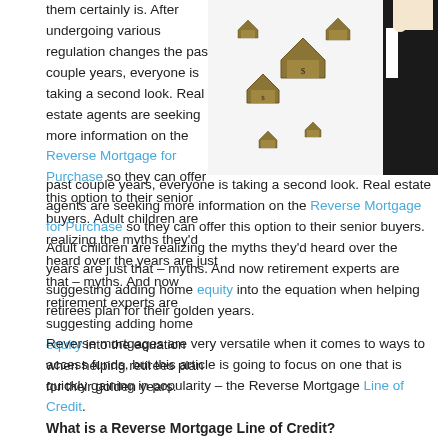them certainly is.  After undergoing various regulation changes the past couple years, everyone is taking a second look.  Real estate agents are seeking more information on the Reverse Mortgage for Purchase so they can offer this option to their senior buyers.  Adult children are realizing the myths they'd heard over the years are just that – myths.  And now retirement experts are suggesting adding home equity into the equation when helping retirees plan for their golden years.
[Figure (photo): A hand in a suit holding multiple small houses made of dollar bills, illustrating reverse mortgage concept.]
Reverse mortgages are very versatile when it comes to ways to access funds, but this article is going to focus on one that is quickly gaining in popularity – the Reverse Mortgage Line of Credit.
What is a Reverse Mortgage Line of Credit?